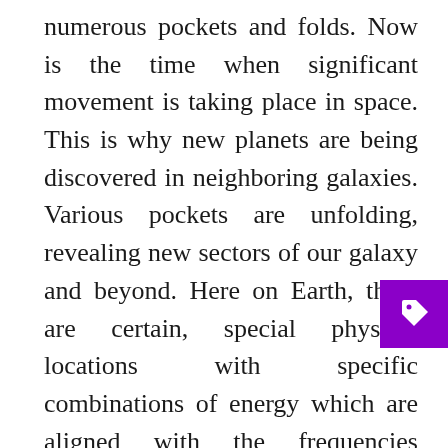numerous pockets and folds. Now is the time when significant movement is taking place in space. This is why new planets are being discovered in neighboring galaxies. Various pockets are unfolding, revealing new sectors of our galaxy and beyond. Here on Earth, there are certain, special physical locations with specific combinations of energy which are aligned with the frequencies emanating from the opening of new pockets and folds in space. When these pockets and folds open up, new energies that were previously inaccessible to us are finally revealed.

At the same time, there are some distort energies which are in the process of being removed from this planet. They are being